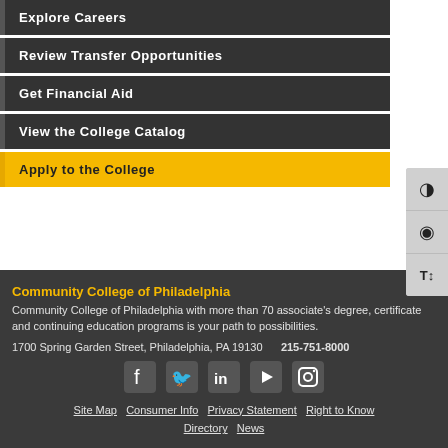Explore Careers
Review Transfer Opportunities
Get Financial Aid
View the College Catalog
Apply to the College
Community College of Philadelphia
Community College of Philadelphia with more than 70 associate's degree, certificate and continuing education programs is your path to possibilities.
1700 Spring Garden Street, Philadelphia, PA 19130     215-751-8000
[Figure (infographic): Social media icons: Facebook, Twitter, LinkedIn, YouTube, Instagram]
Site Map   Consumer Info   Privacy Statement   Right to Know   Directory   News